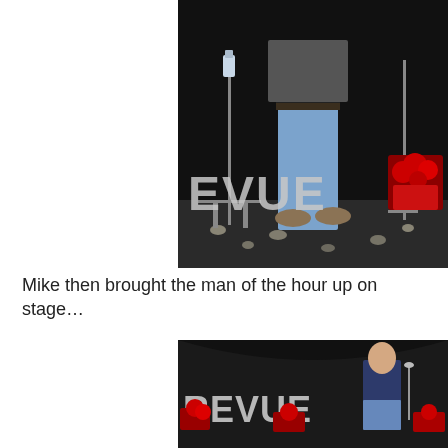[Figure (photo): A person on a dark stage wearing jeans and a dark jacket, standing near a microphone stand with a water bottle. Large 'REVUE' letters are visible on stage floor, with red poinsettia flowers in the background.]
Mike then brought the man of the hour up on stage…
[Figure (photo): A bald man in a navy blue long-sleeve shirt and jeans stands on a dark stage next to a microphone. Large 'REVUE' metallic letters are on the stage floor, surrounded by red poinsettia flowers in red containers.]